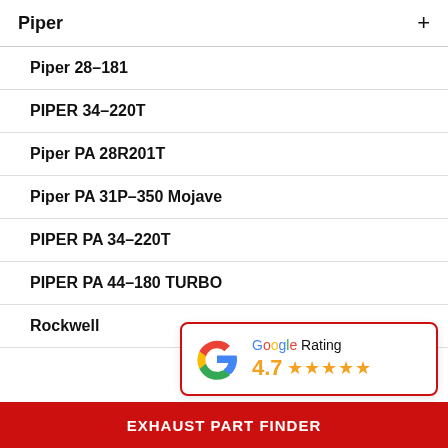Piper +
Piper 28–181
PIPER 34–220T
Piper PA 28R201T
Piper PA 31P–350 Mojave
PIPER PA 34–220T
PIPER PA 44–180 TURBO
Rockwell
[Figure (infographic): Google Rating widget showing 4.7 stars with Google G logo]
EXHAUST PART FINDER